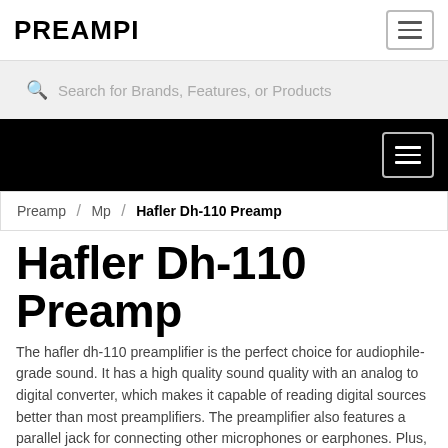PREAMPI
Search for Brands, Features, or Products
Preamp / Mp / Hafler Dh-110 Preamp
Hafler Dh-110 Preamp
The hafler dh-110 preamplifier is the perfect choice for audiophile-grade sound. It has a high quality sound quality with an analog to digital converter, which makes it capable of reading digital sources better than most preamplifiers. The preamplifier also features a parallel jack for connecting other microphones or earphones. Plus, it has a built-in sound card that lets you easily clock in and out your music.